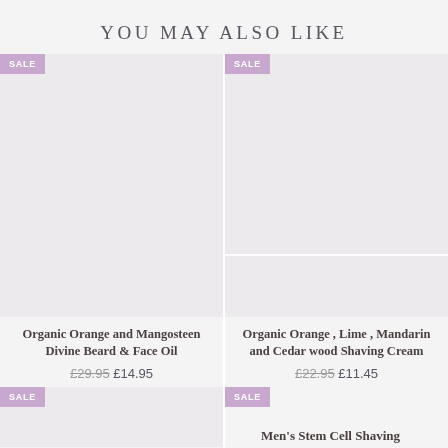YOU MAY ALSO LIKE
[Figure (photo): Product image placeholder for Organic Orange and Mangosteen Divine Beard & Face Oil, with SALE badge]
Organic Orange and Mangosteen Divine Beard & Face Oil
£29.95 £14.95
[Figure (photo): Product image placeholder for Organic Orange, Lime, Mandarin and Cedar wood Shaving Cream, with SALE badge]
Organic Orange , Lime , Mandarin and Cedar wood Shaving Cream
£22.95 £11.45
[Figure (photo): Partial product image with SALE badge at bottom left]
Men's Stem Cell Shaving